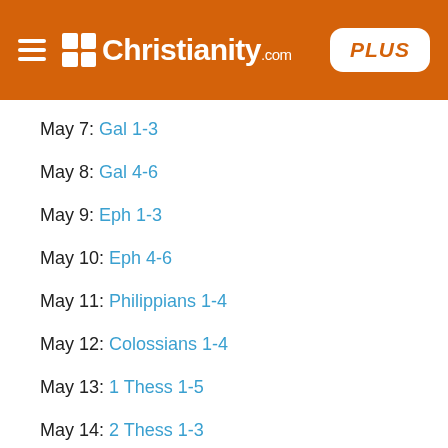Christianity.com PLUS
May 7: Gal 1-3
May 8: Gal 4-6
May 9: Eph 1-3
May 10: Eph 4-6
May 11: Philippians 1-4
May 12: Colossians 1-4
May 13: 1 Thess 1-5
May 14: 2 Thess 1-3
May 15: 1 Timothy 1-6
May 16: 2 Timothy 1-4
May 17: Titus-Philemon
May 18: Heb 1-6
May 19: Heb 7-13